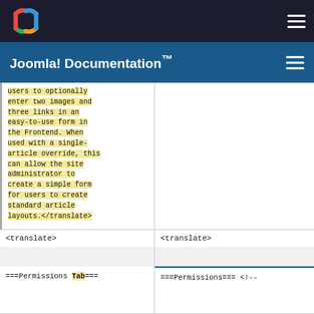Joomla! Documentation™
users to optionally enter two images and three links in an easy-to-use form in the Frontend. When used with a single-article override, this can allow the site administrator to create a simple form for users to create standard article layouts.</translate>
| <translate> | <translate> |
| --- | --- |
|  |  |
| ===Permissions Tab=== | ===Permissions=== <!-- |
Joomla documentation wiki page comparison